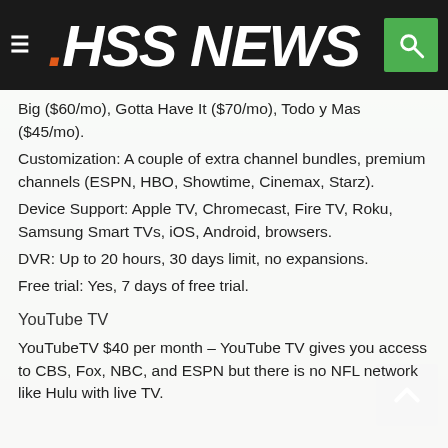HSS NEWS
Big ($60/mo), Gotta Have It ($70/mo), Todo y Mas ($45/mo).
Customization: A couple of extra channel bundles, premium channels (ESPN, HBO, Showtime, Cinemax, Starz).
Device Support: Apple TV, Chromecast, Fire TV, Roku, Samsung Smart TVs, iOS, Android, browsers.
DVR: Up to 20 hours, 30 days limit, no expansions.
Free trial: Yes, 7 days of free trial.
YouTube TV
YouTubeTV $40 per month – YouTube TV gives you access to CBS, Fox, NBC, and ESPN but there is no NFL network like Hulu with live TV.